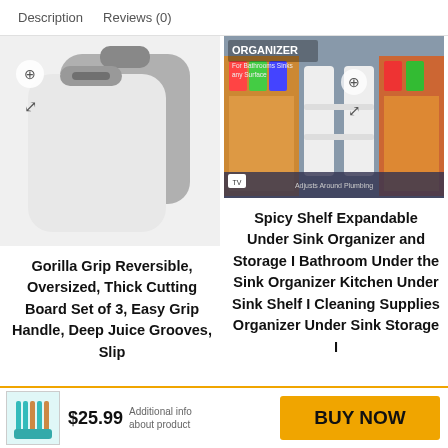Description   Reviews (0)
[Figure (photo): Gorilla Grip cutting boards set of 3 shown as white/gray boards with grip handles]
Gorilla Grip Reversible, Oversized, Thick Cutting Board Set of 3, Easy Grip Handle, Deep Juice Grooves, Slip
[Figure (photo): Spicy Shelf expandable under sink organizer product box image showing bathroom organizer with colorful items]
Spicy Shelf Expandable Under Sink Organizer and Storage I Bathroom Under the Sink Organizer Kitchen Under Sink Shelf I Cleaning Supplies Organizer Under Sink Storage I
[Figure (photo): Small thumbnail of silicone utensils set in teal/orange]
$25.99
BUY NOW